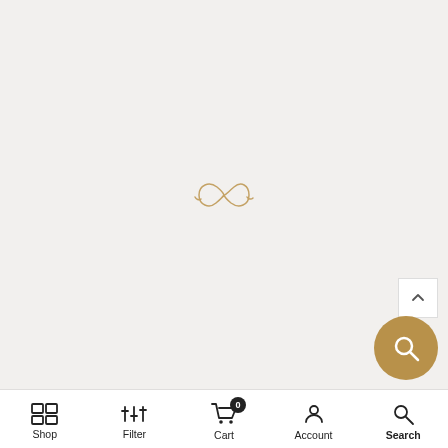[Figure (logo): Thin gold infinity-like stylized script logo mark centered on light gray background]
[Figure (infographic): Bottom navigation bar with Shop, Filter, Cart (badge 0), Account, Search icons]
[Figure (infographic): Brown circular chat button with magnifying glass icon, bottom right]
[Figure (infographic): White square scroll-to-top button with upward chevron, above chat button]